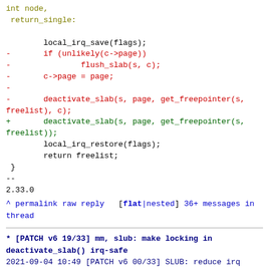int node,
 return_single:

        local_irq_save(flags);
-       if (unlikely(c->page))
-               flush_slab(s, c);
-       c->page = page;
-
-       deactivate_slab(s, page, get_freepointer(s, freelist), c);
+       deactivate_slab(s, page, get_freepointer(s, freelist));
        local_irq_restore(flags);
        return freelist;
 }
--
2.33.0
^ permalink raw reply  [flat|nested] 36+ messages in thread
* [PATCH v6 19/33] mm, slub: make locking in deactivate_slab() irq-safe
  2021-09-04 10:49 [PATCH v6 00/33] SLUB: reduce irq disabled scope and make it RT compatible Vlastimil Babka
                   ` (17 preceding siblings ...)
  2021-09-04 10:49 ` [PATCH v6 18/33] mm, slub: move